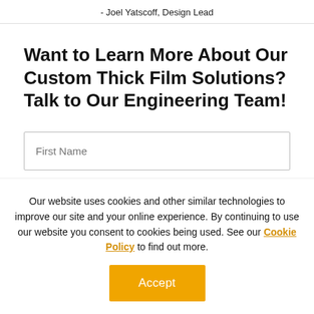- Joel Yatscoff, Design Lead
Want to Learn More About Our Custom Thick Film Solutions? Talk to Our Engineering Team!
First Name
Our website uses cookies and other similar technologies to improve our site and your online experience. By continuing to use our website you consent to cookies being used. See our Cookie Policy to find out more.
Accept